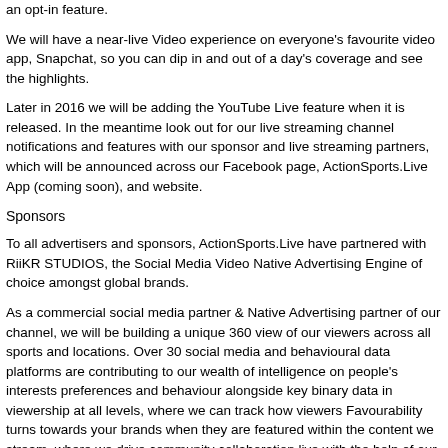an opt-in feature.
We will have a near-live Video experience on everyone's favourite video app, Snapchat, so you can dip in and out of a day's coverage and see the highlights.
Later in 2016 we will be adding the YouTube Live feature when it is released. In the meantime look out for our live streaming channel notifications and features with our sponsor and live streaming partners, which will be announced across our Facebook page, ActionSports.Live App (coming soon), and website.
Sponsors
To all advertisers and sponsors, ActionSports.Live have partnered with RiiKR STUDIOS, the Social Media Video Native Advertising Engine of choice amongst global brands.
As a commercial social media partner & Native Advertising partner of our channel, we will be building a unique 360 view of our viewers across all sports and locations. Over 30 social media and behavioural data platforms are contributing to our wealth of intelligence on people's interests preferences and behaviour alongside key binary data in viewership at all levels, where we can track how viewers Favourability turns towards your brands when they are featured within the content we stream, where we drive community collaboration live with the help of our in-stream directors.
What this means for advertisers is that you get exclusive insight into planning, optimising and evaluating campaigns with the deepest insight ever provided for a Live streaming audience where you can influence Favourability, in a